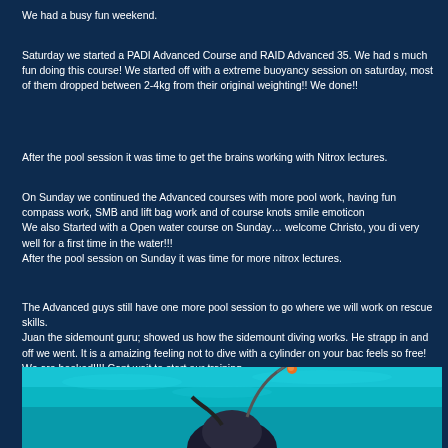We had a busy fun weekend.
Saturday we started a PADI Advanced Course and RAID Advanced 35. We had s much fun doing this course! We started off with a extreme buoyancy session on saturday, most of them dropped between 2-4kg from their original weighting!! We done!!
After the pool session it was time to get the brains working with Nitrox lectures.
On Sunday we continued the Advanced courses with more pool work, having fun compass work, SMB and lift bag work and of course knots smile emoticon We also Started with a Open water course on Sunday… welcome Christo, you di very well for a first time in the water!!! After the pool session on Sunday it was time for more nitrox lectures.
The Advanced guys still have one more pool session to go where we will work on rescue skills. Juan the sidemount guru; showed us how the sidemount diving works. He strapp in and off we went. It is a amaizing feeling not to dive with a cylinder on your bac feels so free! We are hooked!!!! Cant wait to start our training.
[Figure (photo): Underwater photo showing a diver's head from below with snorkel/regulator hose visible against a teal/turquoise water background]